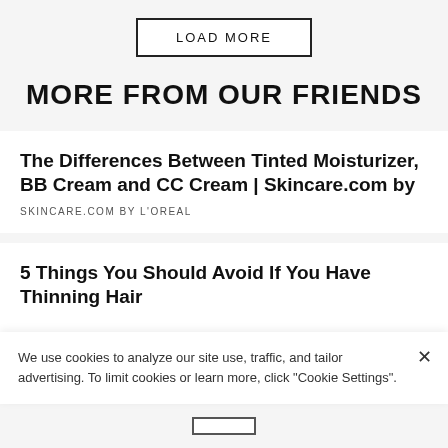LOAD MORE
MORE FROM OUR FRIENDS
The Differences Between Tinted Moisturizer, BB Cream and CC Cream | Skincare.com by
SKINCARE.COM BY L'OREAL
5 Things You Should Avoid If You Have Thinning Hair
We use cookies to analyze our site use, traffic, and tailor advertising. To limit cookies or learn more, click "Cookie Settings".